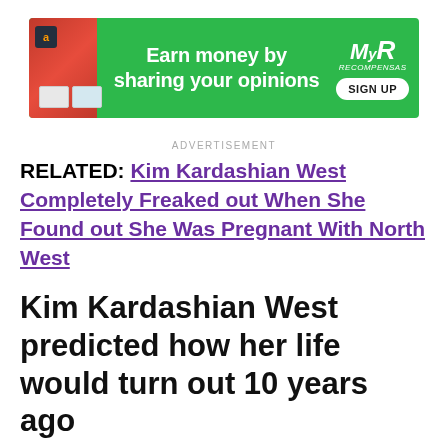[Figure (illustration): Green advertisement banner: 'Earn money by sharing your opinions' with Amazon icon, credit cards image on left, MyRecompensas logo and SIGN UP button on right]
ADVERTISEMENT
RELATED: Kim Kardashian West Completely Freaked out When She Found out She Was Pregnant With North West
Kim Kardashian West predicted how her life would turn out 10 years ago
In fact, the starlet manifested this new life for herself way back in 2011. In a recently unearthed USA Today interview Kardashian